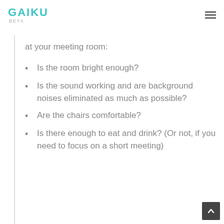GAIKU BETA
at your meeting room:
Is the room bright enough?
Is the sound working and are background noises eliminated as much as possible?
Are the chairs comfortable?
Is there enough to eat and drink? (Or not, if you need to focus on a short meeting)